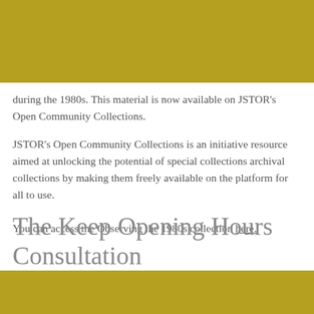during the 1980s. This material is now available on JSTOR's Open Community Collections.
JSTOR's Open Community Collections is an initiative resource aimed at unlocking the potential of special collections archival collections by making them freely available on the platform for all to use.
You can access the Observing the 1980s collection here.
The Keep Opening Hours Consultation